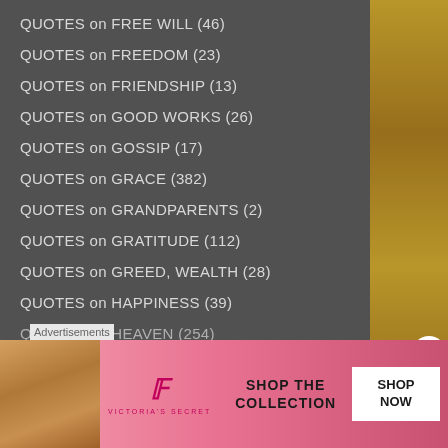QUOTES on FREE WILL (46)
QUOTES on FREEDOM (23)
QUOTES on FRIENDSHIP (13)
QUOTES on GOOD WORKS (26)
QUOTES on GOSSIP (17)
QUOTES on GRACE (382)
QUOTES on GRANDPARENTS (2)
QUOTES on GRATITUDE (112)
QUOTES on GREED, WEALTH (28)
QUOTES on HAPPINESS (39)
QUOTES on HEAVEN (254)
Advertisements
[Figure (photo): Victoria's Secret advertisement with a woman's face and pink background, showing 'SHOP THE COLLECTION' and 'SHOP NOW' button]